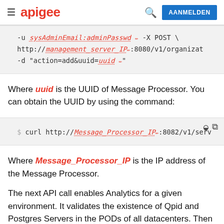apigee | AANMELDEN
-u sysAdminEmail:adminPasswd -X POST \ http://management_server_IP:8080/v1/organizat -d "action=add&uuid=uuid"
Where uuid is the UUID of Message Processor. You can obtain the UUID by using the command:
$ curl http://Message_Processor_IP:8082/v1/serv
Where Message_Processor_IP is the IP address of the Message Processor.
The next API call enables Analytics for a given environment. It validates the existence of Qpid and Postgres Servers in the PODs of all datacenters. Then it starts the Analytics onboarding for the given organization